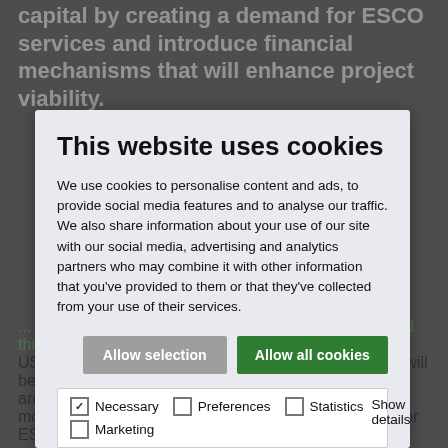capital by creating a demand for ESCO services and introduce financial mechanisms that will enhance project viability.
This website uses cookies
We use cookies to personalise content and ads, to provide social media features and to analyse our traffic. We also share information about your use of our site with our social media, advertising and analytics partners who may combine it with other information that you’ve provided to them or that they’ve collected from your use of their services.
Allow selection | Allow all cookies
Necessary  Preferences  Statistics  Show details  Marketing
... to reduce the annual growth in global energy demand through 2040 from 1.0% to 0.3%, an estimated USD 24.5 trillion in energy efficiency (EE) investments will be needed. Across developed energy service markets around the world, the public sector can potentially mobilize the bulk of that capital by creating a demand for ESCO services and introduce financial mechanisms